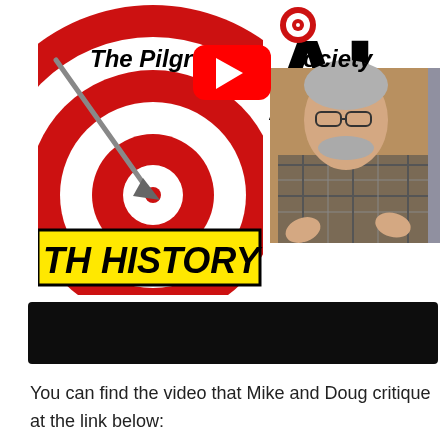[Figure (screenshot): Composite YouTube video thumbnail showing a red and white bullseye/target graphic on the left with an arrow, partially visible large 'AI' text top right, the text 'The Pilgrim Society' overlaid, a YouTube play button in the center, a photo of an older man with glasses gesturing with his hands, a yellow bar reading 'TH HISTORY', and a partial second person on the far right edge.]
[Figure (screenshot): Black video player bar / embedded video area below the thumbnail.]
You can find the video that Mike and Doug critique at the link below: